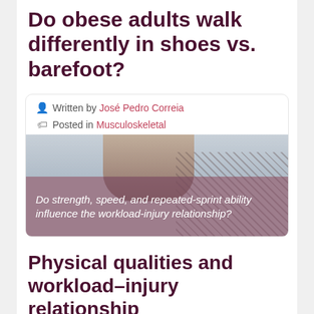Do obese adults walk differently in shoes vs. barefoot?
Written by José Pedro Correia
Posted in Musculoskeletal
[Figure (photo): A shirtless muscular man leaning against a chain-link fence outdoors, with an overlay showing italic text about strength, speed and injury.]
Do strength, speed, and repeated-sprint ability influence the workload-injury relationship?
Physical qualities and workload–injury relationship